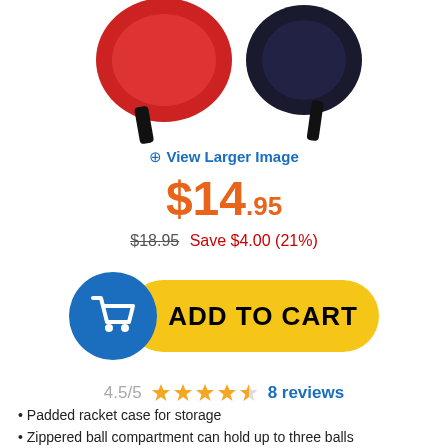[Figure (photo): Product images of a padded racket case/bag shown from two angles at the top of the page]
⊕ View Larger Image
$14.95
$18.95  Save $4.00 (21%)
[Figure (other): Add to Cart button with blue shopping cart circle icon on the left and yellow rounded rectangle with ADD TO CART text]
4.5/5  ★★★★½  8 reviews
Padded racket case for storage
Zippered ball compartment can hold up to three balls
Protect your racket from dust or damage while not in use